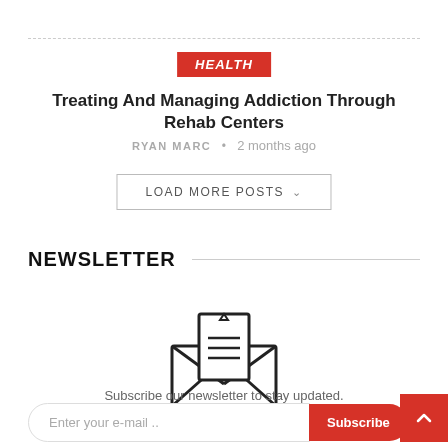HEALTH
Treating And Managing Addiction Through Rehab Centers
RYAN MARC • 2 months ago
LOAD MORE POSTS
NEWSLETTER
[Figure (illustration): Open envelope icon with letter/document inside showing horizontal lines]
Subscribe our newsletter to stay updated.
Enter your e-mail ..  Subscribe